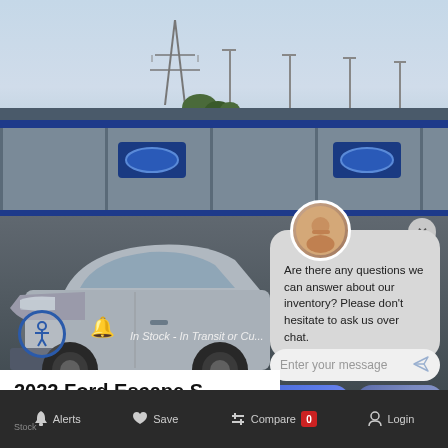[Figure (screenshot): Car dealership webpage screenshot showing a 2022 Ford Escape with a live chat overlay. Background shows a silver Ford Escape SUV parked in front of a Ford factory/train backdrop. A chat bubble shows an avatar and message asking about inventory questions. Input field reads 'Enter your message' with a send icon. Two buttons: 'Live Chat' and 'Text Us'. Bottom navigation bar shows Alerts, Save, Compare (with badge 0), and Login options.]
Are there any questions we can answer about our inventory? Please don't hesitate to ask us over chat.
Enter your message
Live Chat
Text Us
In Stock - In Transit or Cu...
2022 Ford Escape S
Alerts  Save  Compare 0  Login